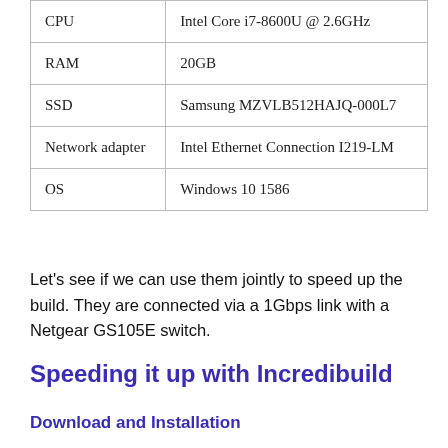| CPU | Intel Core i7-8600U @ 2.6GHz |
| RAM | 20GB |
| SSD | Samsung MZVLB512HAJQ-000L7 |
| Network adapter | Intel Ethernet Connection I219-LM |
| OS | Windows 10 1586 |
Let's see if we can use them jointly to speed up the build. They are connected via a 1Gbps link with a Netgear GS105E switch.
Speeding it up with Incredibuild
Download and Installation